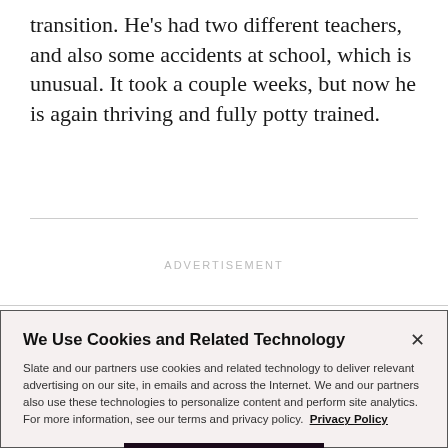transition. He's had two different teachers, and also some accidents at school, which is unusual. It took a couple weeks, but now he is again thriving and fully potty trained.
ADVERTISEMENT
We Use Cookies and Related Technology
Slate and our partners use cookies and related technology to deliver relevant advertising on our site, in emails and across the Internet. We and our partners also use these technologies to personalize content and perform site analytics. For more information, see our terms and privacy policy. Privacy Policy